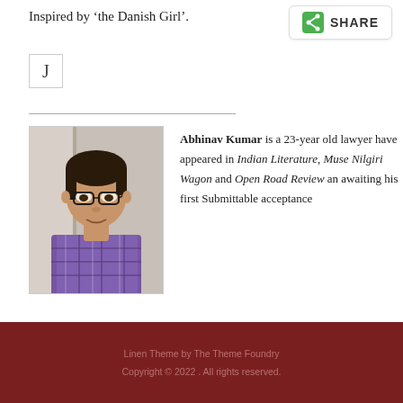Inspired by 'the Danish Girl'.
[Figure (screenshot): Share button with green share icon and SHARE label]
[Figure (photo): Letter J icon in a box]
[Figure (photo): Photo of Abhinav Kumar, a young man with glasses wearing a purple plaid shirt]
Abhinav Kumar is a 23-year old lawyer have appeared in Indian Literature, Muse Nilgiri Wagon and Open Road Review an awaiting his first Submittable acceptance
Linen Theme by The Theme Foundry
Copyright © 2022 . All rights reserved.